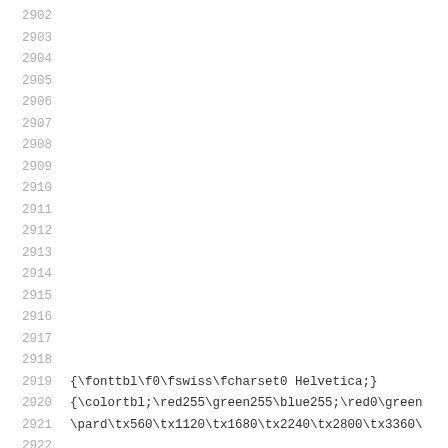2902
2903
2904
2905
2906
2907
2908
2909
2910
2911
2912
2913
2914
2915
2916
2917
2918
2919    {\fonttbl\f0\fswiss\fcharset0 Helvetica;}
2920    {\colortbl;\red255\green255\blue255;\red0\green
2921    \pard\tx560\tx1120\tx1680\tx2240\tx2800\tx3360\
2922